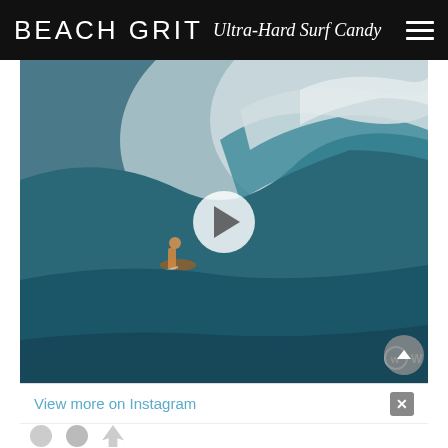BEACH GRIT Ultra-Hard Surf Candy
[Figure (screenshot): Video thumbnail showing a surfer riding a large wave at Pipeline/Pipe, with a white play button overlay in the center. WSL watermark visible in bottom right corner.]
View more on Instagram